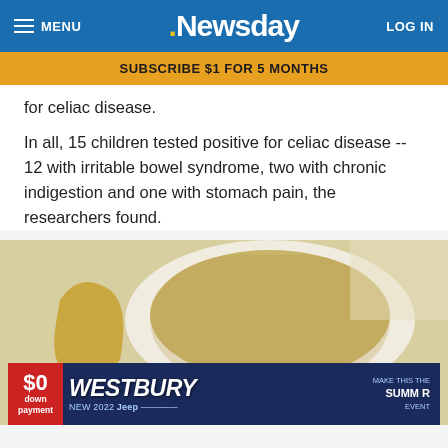MENU | Newsday | LOG IN
SUBSCRIBE $1 FOR 5 MONTHS
for celiac disease.
In all, 15 children tested positive for celiac disease -- 12 with irritable bowel syndrome, two with chronic indigestion and one with stomach pain, the researchers found.
[Figure (photo): A bowl of coarse powder or grain (possibly almond flour or a gluten-related food item) with what appears to be a banana or yellow vegetable beside it, on a white surface. An advertisement overlay for Westbury Jeep NEW 2022 with $0 down payment is shown at the bottom of the image.]